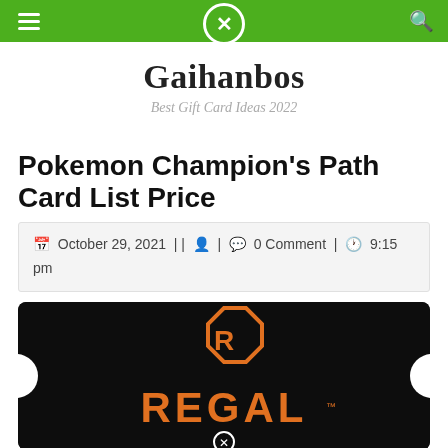Gaihanbos navigation bar
Gaihanbos
Best Gift Card Ideas 2022
Pokemon Champion's Path Card List Price
October 29, 2021 | | 👤 | 0 Comment | 9:15 pm
[Figure (photo): Regal Cinemas gift card with black background, orange Regal octagon logo and R letter mark, and REGAL text in orange at the bottom]